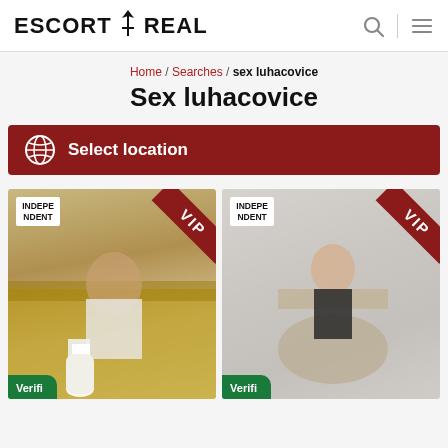ESCORT REAL
Home / Searches / sex luhacovice
Sex luhacovice
Select location
[Figure (photo): Photo of a woman in white boots and denim shorts sitting on a couch, with INDEPENDENT and VIP badges, and Verified label]
[Figure (photo): Photo of a woman in black bodysuit sitting on a chair, with INDEPENDENT and VIP badges, and Verified label]